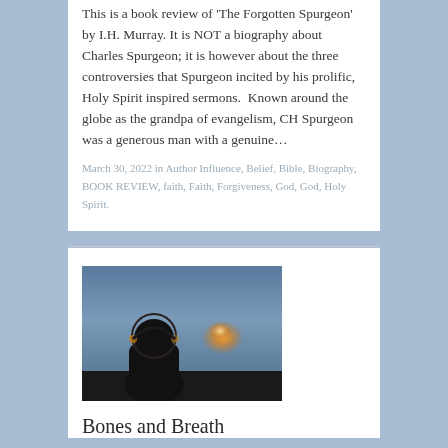This is a book review of 'The Forgotten Spurgeon' by I.H. Murray. It is NOT a biography about Charles Spurgeon; it is however about the three controversies that Spurgeon incited by his prolific, Holy Spirit inspired sermons. Known around the globe as the grandpa of evangelism, CH Spurgeon was a generous man with a genuine…
March 30, 2022 in Author Influence, Belief, Bible, Biography, BOOK REVIEW, faith, Faith, Forgiveness, God, God, Holy Spirit.
[Figure (photo): A silhouette of a person wearing a hooded jacket seen from behind against a dramatic sky with a glowing cloud illuminated by sunlight in shades of orange and yellow. The sky is a blue-gray gradient.]
Bones and Breath